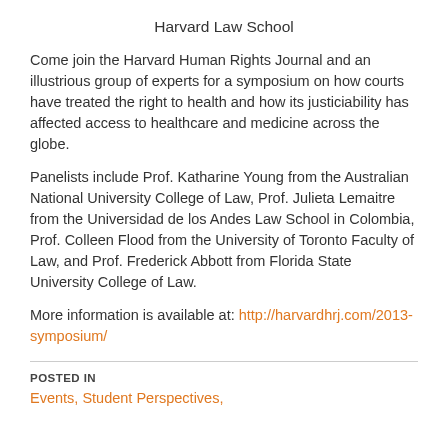Harvard Law School
Come join the Harvard Human Rights Journal and an illustrious group of experts for a symposium on how courts have treated the right to health and how its justiciability has affected access to healthcare and medicine across the globe.
Panelists include Prof. Katharine Young from the Australian National University College of Law, Prof. Julieta Lemaitre from the Universidad de los Andes Law School in Colombia, Prof. Colleen Flood from the University of Toronto Faculty of Law, and Prof. Frederick Abbott from Florida State University College of Law.
More information is available at: http://harvardhrj.com/2013-symposium/
POSTED IN
Events, Student Perspectives,